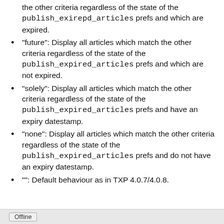the other criteria regardless of the state of the publish_exirepd_articles prefs and which are expired.
“future”: Display all articles which match the other criteria regardless of the state of the publish_expired_articles prefs and which are not expired.
“solely”: Display all articles which match the other criteria regardless of the state of the publish_expired_articles prefs and have an expiry datestamp.
“none”: Display all articles which match the other criteria regardless of the state of the publish_expired_articles prefs and do not have an expiry datestamp.
“”: Default behaviour as in TXP 4.0.7/4.0.8.
Offline